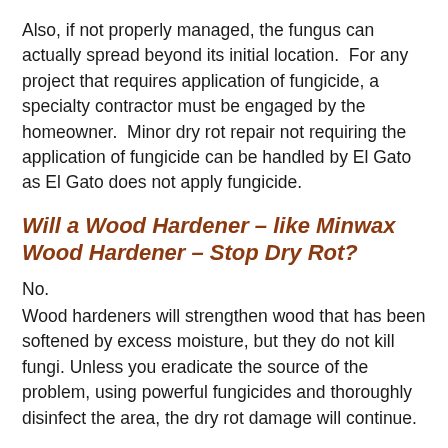Also, if not properly managed, the fungus can actually spread beyond its initial location.  For any project that requires application of fungicide, a specialty contractor must be engaged by the homeowner.  Minor dry rot repair not requiring the application of fungicide can be handled by El Gato as El Gato does not apply fungicide.
Will a Wood Hardener – like Minwax Wood Hardener – Stop Dry Rot?
No.
Wood hardeners will strengthen wood that has been softened by excess moisture, but they do not kill fungi. Unless you eradicate the source of the problem, using powerful fungicides and thoroughly disinfect the area, the dry rot damage will continue.
If You Don't Do Anything, Will Dry Rot K...